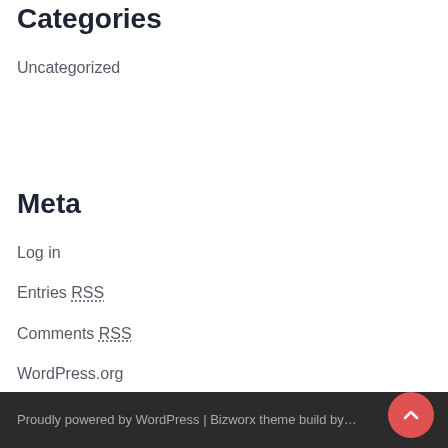Categories
Uncategorized
Meta
Log in
Entries RSS
Comments RSS
WordPress.org
Proudly powered by WordPress | Bizworx theme build by…